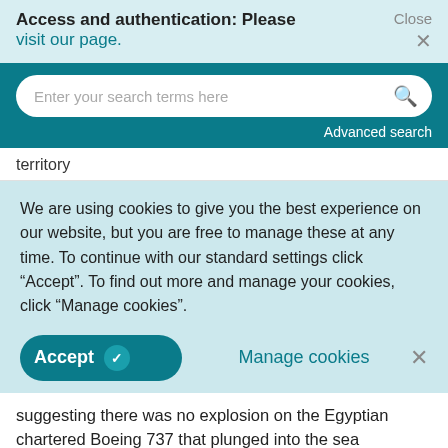Access and authentication: Please visit our page.
Close ×
Enter your search terms here
Advanced search
territory
We are using cookies to give you the best experience on our website, but you are free to manage these at any time. To continue with our standard settings click "Accept". To find out more and manage your cookies, click "Manage cookies".
Accept   Manage cookies   ×
suggesting there was no explosion on the Egyptian chartered Boeing 737 that plunged into the sea